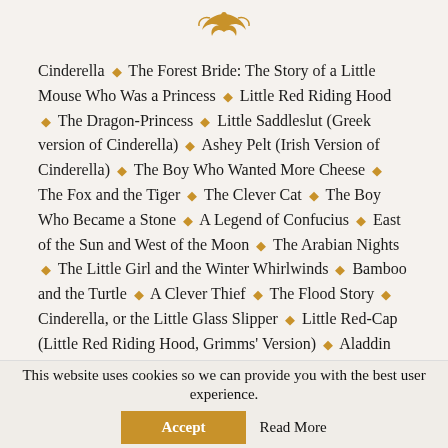[Figure (illustration): Decorative golden floral/scroll ornament centered at top of page]
Cinderella ◆ The Forest Bride: The Story of a Little Mouse Who Was a Princess ◆ Little Red Riding Hood ◆ The Dragon-Princess ◆ Little Saddleslut (Greek version of Cinderella) ◆ Ashey Pelt (Irish Version of Cinderella) ◆ The Boy Who Wanted More Cheese ◆ The Fox and the Tiger ◆ The Clever Cat ◆ The Boy Who Became a Stone ◆ A Legend of Confucius ◆ East of the Sun and West of the Moon ◆ The Arabian Nights ◆ The Little Girl and the Winter Whirlwinds ◆ Bamboo and the Turtle ◆ A Clever Thief ◆ The Flood Story ◆ Cinderella, or the Little Glass Slipper ◆ Little Red-Cap (Little Red Riding Hood, Grimms' Version) ◆ Aladdin and the Wonderful Lamp
This website uses cookies so we can provide you with the best user experience.
Accept
Read More